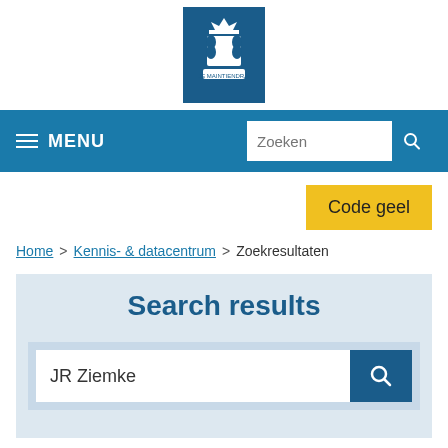[Figure (logo): Dutch government coat of arms logo on dark blue background]
MENU | Zoeken (search bar)
[Figure (other): Yellow 'Code geel' button]
Home > Kennis- & datacentrum > Zoekresultaten
Search results
JR Ziemke (search input field)